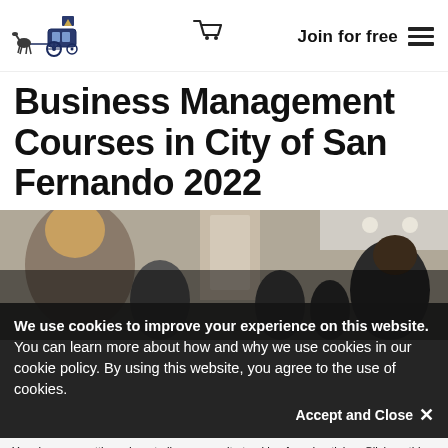Join for free
Business Management Courses in City of San Fernando 2022
[Figure (photo): Group of people in a classroom or conference room setting, viewed from behind/side angle]
We use cookies to improve your experience on this website. You can learn more about how and why we use cookies in our cookie policy. By using this website, you agree to the use of cookies.
Accept and Close ✕
Your browser settings do not allow cross-site tracking for advertising. Click on this page to allow AdRoll to use cross-site tracking to tailor ads to you. Learn more or opt out of this AdRoll tracking by clicking here. This message only appears once.